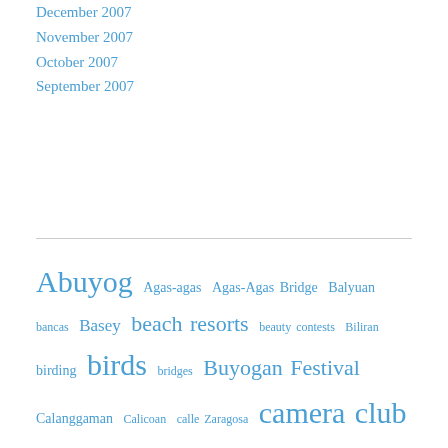December 2007
November 2007
October 2007
September 2007
Abuyog Agas-agas Agas-Agas Bridge Balyuan bancas Basey beach resorts beauty contests Biliran birding birds bridges Buyogan Festival Calanggaman Calicoan calle Zaragosa camera club of leyte & samar Cancabato Bay CCLS Cebu Cebu City Christmas churches Eastern Visayas extreme sports festivals fiestas Gerry Ruiz gerryruiz gerryruiz images gerryruiz photography Guiuan islands Kalanggaman Kasadyaan lakes leyte Leyte Gulf Travel & Tours Leyte Landing Litratista malls